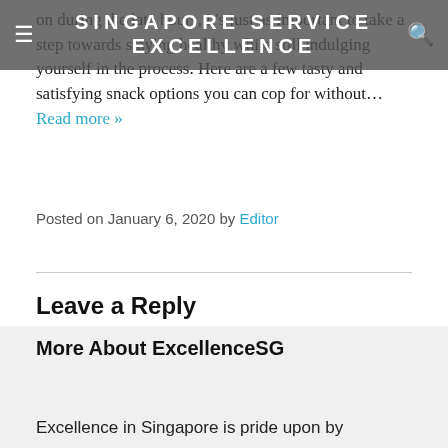SINGAPORE SERVICE EXCELLENCE
on during the late hours, it's just as important to take a step towards staying healthy while still indulging yourself in the process. Here are a few tasty and satisfying snack options you can cop for without… Read more »
Posted on January 6, 2020 by Editor
Leave a Reply
You must be logged in to post a comment.
More About ExcellenceSG
Excellence in Singapore is pride upon by